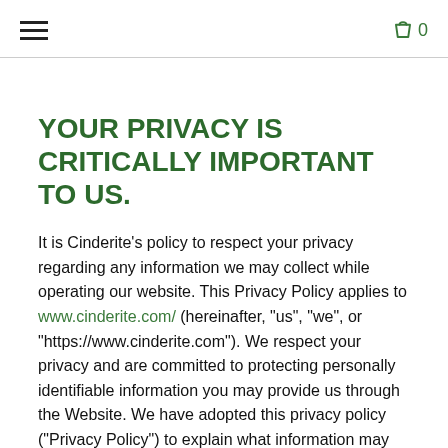Menu | Cart 0
YOUR PRIVACY IS CRITICALLY IMPORTANT TO US.
It is Cinderite's policy to respect your privacy regarding any information we may collect while operating our website. This Privacy Policy applies to www.cinderite.com/ (hereinafter, "us", "we", or "https://www.cinderite.com"). We respect your privacy and are committed to protecting personally identifiable information you may provide us through the Website. We have adopted this privacy policy ("Privacy Policy") to explain what information may be collected on our Website, how we use this information, and under what circumstances we may disclose the information to third parties. This Privacy Policy applies